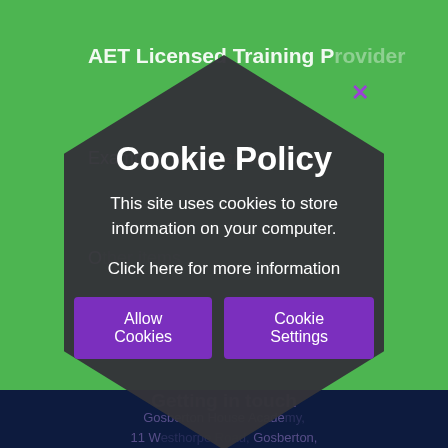[Figure (screenshot): Website screenshot showing cookie policy modal overlay on an educational website (AET Licensed Training Provider). The background shows a green header area with partial text 'AET Licensed Training Provider' and 'Examples of...' and 'O...' visible. A dark hexagon-shaped modal dialog displays a Cookie Policy notice with title 'Cookie Policy', body text 'This site uses cookies to store information on your computer.', a link 'Click here for more information', and two purple buttons 'Allow Cookies' and 'Cookie Settings'. The lower background is dark navy showing partial text 'Getting in touch' and an address: 'Gosberton House Academy, 11 Westhorpe Road, Gosberton, Spalding, Lincolnshire, PE11 4EW'.]